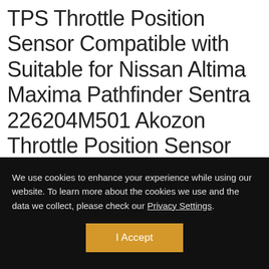TPS Throttle Position Sensor Compatible with Suitable for Nissan Altima Maxima Pathfinder Sentra 226204M501 Akozon Throttle Position Sensor
We use cookies to enhance your experience while using our website. To learn more about the cookies we use and the data we collect, please check our Privacy Settings.
I Accept